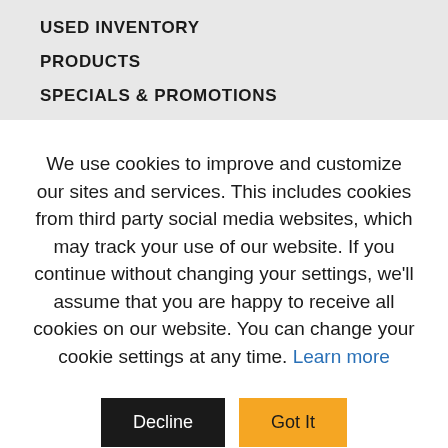USED INVENTORY
PRODUCTS
SPECIALS & PROMOTIONS
We use cookies to improve and customize our sites and services. This includes cookies from third party social media websites, which may track your use of our website. If you continue without changing your settings, we'll assume that you are happy to receive all cookies on our website. You can change your cookie settings at any time. Learn more
Decline | Got It